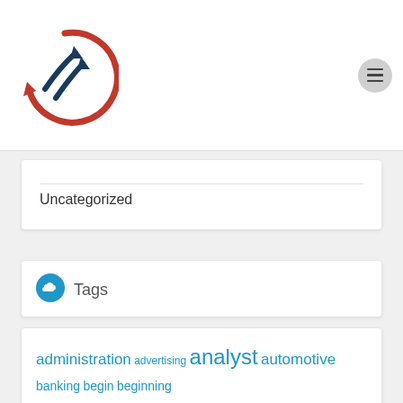Logo and navigation header
Uncategorized
Tags
administration advertising analyst automotive banking begin beginning business cards class college companies consulting credit design education enterprise estate fashion finance finest greatest health house ideas improvement information intelligence leisure management manager master methods online playing proposal proposals small software start technology travel